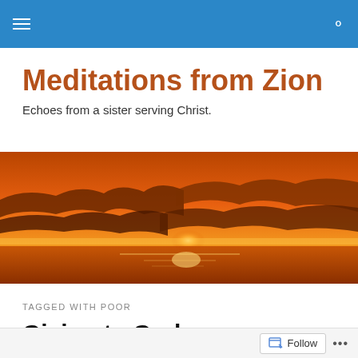Navigation bar with hamburger menu and search icon
Meditations from Zion
Echoes from a sister serving Christ.
[Figure (photo): Sunset panorama with orange and red sky, clouds silhouetted against glowing horizon over water]
TAGGED WITH POOR
Giving to God
Follow   ...